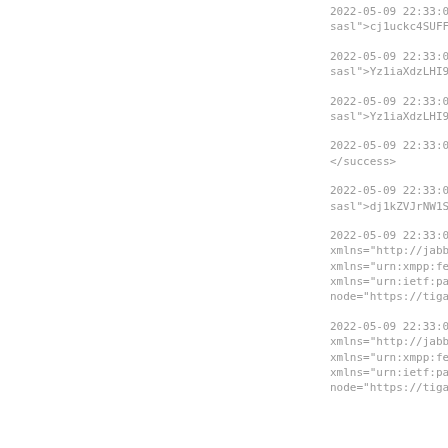2022-05-09 22:33:07 | sasl">cj1uckc4SUFFc2Ri
2022-05-09 22:33:07 | sasl">Yz1iaXdzLHI9bnJH
2022-05-09 22:33:07 | sasl">Yz1iaXdzLHI9bnJH
2022-05-09 22:33:07 | </success>
2022-05-09 22:33:07 | sasl">dj1kZVJrNW1SUDhz
2022-05-09 22:33:07 | xmlns="http://jabber.c xmlns="urn:xmpp:featur xmlns="urn:ietf:params node="https://tigase.r
2022-05-09 22:33:07 | xmlns="http://jabber.c xmlns="urn:xmpp:featur xmlns="urn:ietf:params node="https://tigase.r